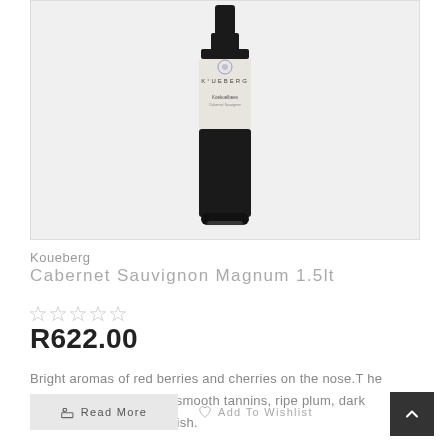[Figure (photo): Wine bottle with Koueberg Koekoelbees Cabernet Sauvignon label against a grey background]
Koueberg
Cabernet Sauvignon Magnum 1.5lt
☆ ☆ ☆ ☆ ☆
R622.00
Bright aromas of red berries and cherries on the nose.T he palate is lined with silky smooth tannins, ripe plum, dark fruit and a pithy spicy finish.
Read More
Add To Wishlist